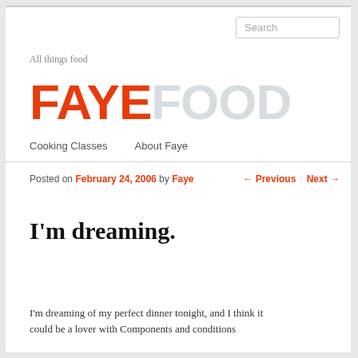Search
All things food
FAYEFOOD
Cooking Classes   About Faye
Posted on February 24, 2006 by Faye   ← Previous   Next →
I'm dreaming.
I'm dreaming of my perfect dinner tonight, and I think it could be a lover with Components and conditions